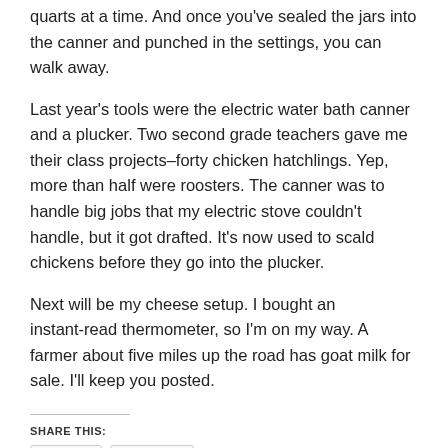quarts at a time. And once you've sealed the jars into the canner and punched in the settings, you can walk away.
Last year's tools were the electric water bath canner and a plucker. Two second grade teachers gave me their class projects–forty chicken hatchlings. Yep, more than half were roosters. The canner was to handle big jobs that my electric stove couldn't handle, but it got drafted. It's now used to scald chickens before they go into the plucker.
Next will be my cheese setup. I bought an instant-read thermometer, so I'm on my way. A farmer about five miles up the road has goat milk for sale. I'll keep you posted.
SHARE THIS:
Twitter | Facebook